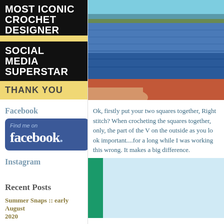[Figure (illustration): Award badge: black background with white bold text 'MOST ICONIC CROCHET DESIGNER', yellow bar, black 'SOCIAL MEDIA SUPERSTAR', yellow 'THANK YOU' bar]
Facebook
[Figure (logo): Facebook 'Find me on facebook.' badge with blue background and white text]
Instagram
Recent Posts
Summer Snaps :: early August 2020
[Figure (photo): Close-up of colorful crochet yarn layers in blue, teal, olive and orange/red colors]
Ok, firstly put your two squares together, Rig... stitch? When crocheting the squares together, only, the part of the V on the outside as you lo... important....for a long while I was working th... wrong. It makes a big difference.
[Figure (photo): Partial photo with green and light blue background suggesting crochet work]